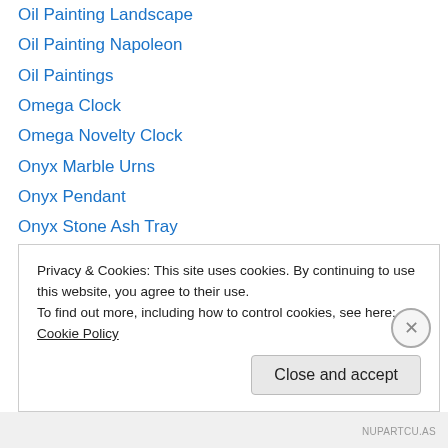Oil Painting Landscape
Oil Painting Napoleon
Oil Paintings
Omega Clock
Omega Novelty Clock
Onyx Marble Urns
Onyx Pendant
Onyx Stone Ash Tray
open bookcase
open front bookcase
Ormolu
Ormolu Base Opaline
Ormolu Bowl
Ormolu Bronze
Privacy & Cookies: This site uses cookies. By continuing to use this website, you agree to their use.
To find out more, including how to control cookies, see here: Cookie Policy
Close and accept
NUPARTCU.AS